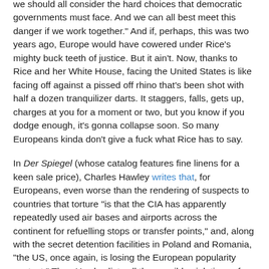we should all consider the hard choices that democratic governments must face. And we can all best meet this danger if we work together." And if, perhaps, this was two years ago, Europe would have cowered under Rice's mighty buck teeth of justice. But it ain't. Now, thanks to Rice and her White House, facing the United States is like facing off against a pissed off rhino that's been shot with half a dozen tranquilizer darts. It staggers, falls, gets up, charges at you for a moment or two, but you know if you dodge enough, it's gonna collapse soon. So many Europeans kinda don't give a fuck what Rice has to say.
In Der Spiegel (whose catalog features fine linens for a keen sale price), Charles Hawley writes that, for Europeans, even worse than the rendering of suspects to countries that torture "is that the CIA has apparently repeatedly used air bases and airports across the continent for refuelling stops or transfer points," and, along with the secret detention facilities in Poland and Romania, "the US, once again, is losing the European popularity contest." Then Hawley lists all the possible violations of international law by the United States, country by country.